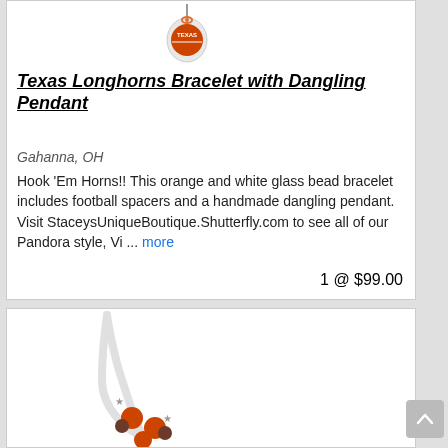[Figure (photo): Partial image of a Texas Longhorns bracelet pendant with orange and white beads at top of first card]
Texas Longhorns Bracelet with Dangling Pendant
Gahanna, OH
Hook 'Em Horns!! This orange and white glass bead bracelet includes football spacers and a handmade dangling pendant. Visit StaceysUniqueBoutique.Shutterfly.com to see all of our Pandora style, Vi ... more
1 @ $99.00
[Figure (photo): A necklace with orange and brown beads arranged in a V-shape with star accents on a white cord/chain background]